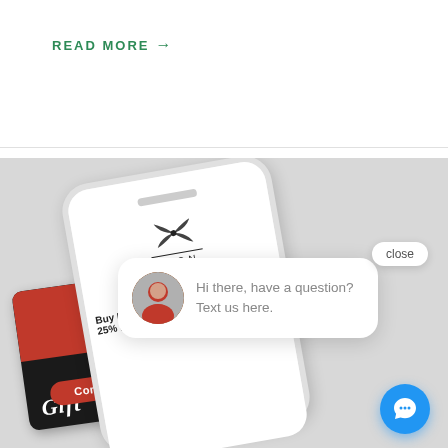READ MORE →
[Figure (screenshot): A smartphone mockup showing a salon app with a chat popup saying 'Hi there, have a question? Text us here.' with a close button and a blue chat icon button. Behind the phone is a gift card. The scene appears as a marketing screenshot for a text messaging/chat service.]